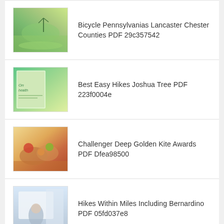Bicycle Pennsylvanias Lancaster Chester Counties PDF 29c357542
Best Easy Hikes Joshua Tree PDF 223f0004e
Challenger Deep Golden Kite Awards PDF Dfea98500
Hikes Within Miles Including Bernardino PDF 05fd037e8
Creaky Knees Guide Washington Hikes PDF 5c618e307